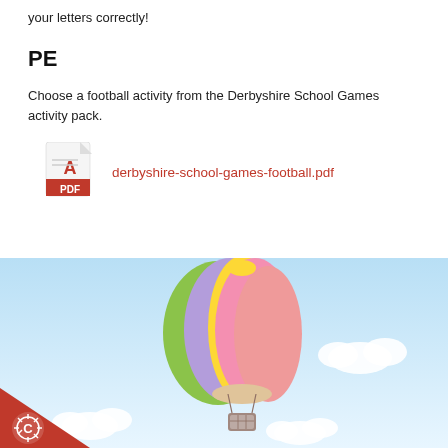your letters correctly!
PE
Choose a football activity from the Derbyshire School Games activity pack.
[Figure (other): PDF file icon (red Adobe PDF logo) with link text: derbyshire-school-games-football.pdf]
[Figure (illustration): Sky background with hot air balloon (colorful stripes: green, purple, yellow, pink, coral) and white clouds. Red diagonal banner in bottom-left corner with a sun/gear icon and letter C.]